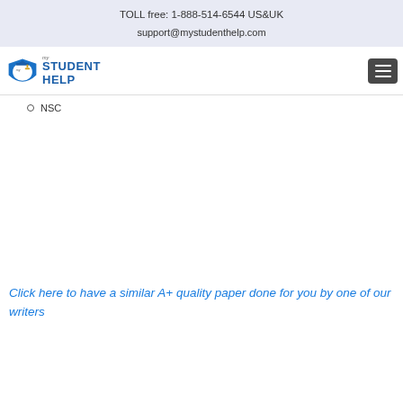TOLL free: 1-888-514-6544 US&UK
support@mystudenthelp.com
[Figure (logo): myStudent Help logo with graduation cap and shield icon in blue]
NSC
Click here to have a similar A+ quality paper done for you by one of our writers